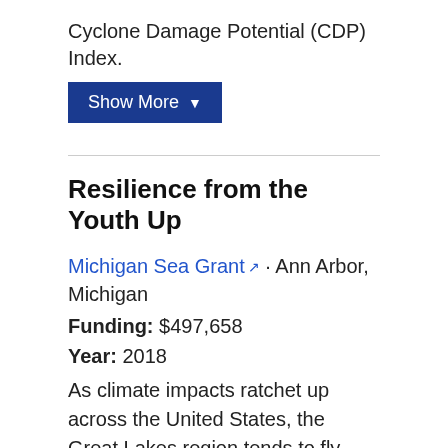Cyclone Damage Potential (CDP) Index.
Show More ▼
Resilience from the Youth Up
Michigan Sea Grant · Ann Arbor, Michigan
Funding: $497,658
Year: 2018
As climate impacts ratchet up across the United States, the Great Lakes region tends to fly under the national radar. While the Great Lakes do not experience hurricanes, rising sea levels, or large-scale